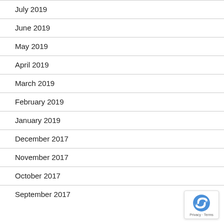July 2019
June 2019
May 2019
April 2019
March 2019
February 2019
January 2019
December 2017
November 2017
October 2017
September 2017